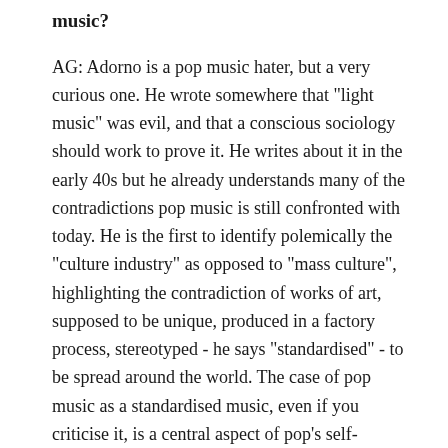music?
AG: Adorno is a pop music hater, but a very curious one. He wrote somewhere that "light music" was evil, and that a conscious sociology should work to prove it. He writes about it in the early 40s but he already understands many of the contradictions pop music is still confronted with today. He is the first to identify polemically the "culture industry" as opposed to "mass culture", highlighting the contradiction of works of art, supposed to be unique, produced in a factory process, stereotyped - he says "standardised" - to be spread around the world. The case of pop music as a standardised music, even if you criticise it, is a central aspect of pop's self-definition. I love the KLF's Manual for that: they seriously contend with the inauthenticity of pop music and it is hilarious at the same time. They embrace it, showing pop music's own awareness of its affinities with things that have nothing to do with art: advertisements, memory, even stupidity and low-end fun. That is what Adorno misses in the end: the capacity in pop subjects